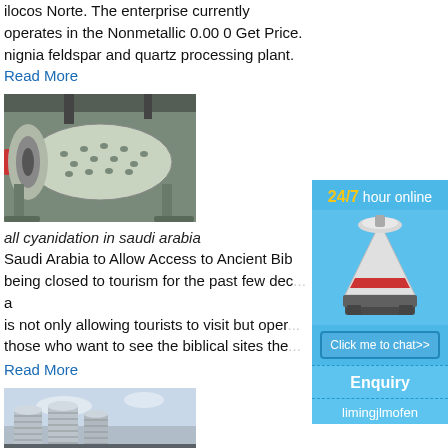ilocos Norte. The enterprise currently operates in the Nonmetallic 0.00 0 Get Price. nignia feldspar and quartz processing plant.
Read More
[Figure (photo): Industrial ball mill machinery in a factory setting]
all cyanidation in saudi arabia
Saudi Arabia to Allow Access to Ancient Bib... being closed to tourism for the past few dec... a is not only allowing tourists to visit but oper... those who want to see the biblical sites the...
Read More
[Figure (photo): Industrial metal silos/grain storage tanks outdoors]
[Figure (infographic): Sidebar advertisement: 24/7 hour online contact widget with machine image, Click me to chat>> button, Enquiry section, and limingjlmofen text]